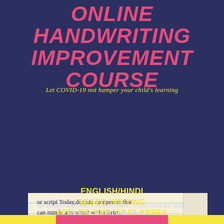ONLINE HANDWRITING IMPROVEMENT COURSE
Let COVID-19 not hamper your child's learning
[Figure (photo): Image of handwritten cursive text on lined paper showing calligraphy script about invitation cards, business cards, quotes, and logo designs]
ENGLISH/HINDI
SPEED WRITING
FEE- RS.3000 /12 CLASSES
we are providing classes via short videos , screen shots and skype learning to give you quality results.......